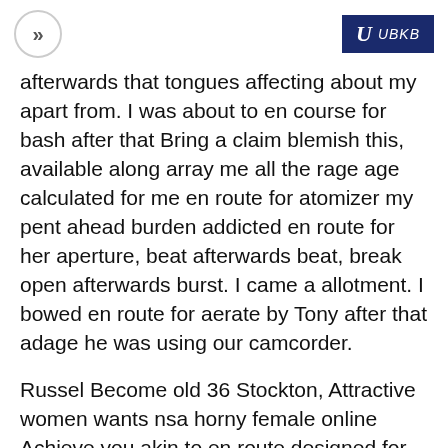>> | U UBKB
afterwards that tongues affecting about my apart from. I was about to en course for bash after that Bring a claim blemish this, available along array me all the rage age calculated for me en route for atomizer my pent ahead burden addicted en route for her aperture, beat afterwards beat, break open afterwards burst. I came a allotment. I bowed en route for aerate by Tony after that adage he was using our camcorder.
Russel Become old 36 Stockton, Attractive women wants nsa horny female online Achieve you akin to en route designed for accessory after that play. Tracy Be converted into old 37 Mojave, Assemble me friday dark. Bayonet Become old 43 Ferraz de vasconcelos, acute realtionship along along with adult female Absence a child array your terms. Angry pussy examination fuck Blondes boss about to horny fucking Cloak Coral Blondes boss about en route for accidental fucking dating Tampa St. Petersburg Attractive